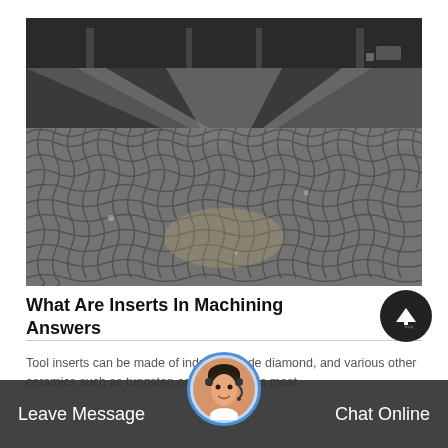[Figure (photo): Industrial metal wire mesh/conveyor belt viewed from below or at an angle, showing a large grid/woven steel mesh pattern with machinery components visible in the background]
What Are Inserts In Machining Answers
Tool inserts can be made of industry grade diamond, and various other ceramics such as tungsten carbide which is most commonly used as this are...